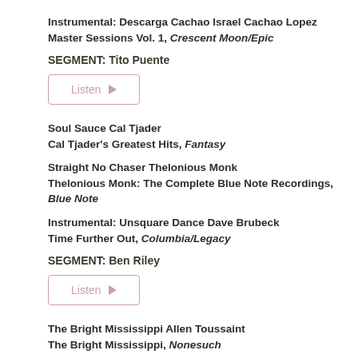Instrumental: Descarga Cachao Israel Cachao Lopez Master Sessions Vol. 1, Crescent Moon/Epic
SEGMENT: Tito Puente
[Figure (other): Listen button with play icon]
Soul Sauce Cal Tjader
Cal Tjader's Greatest Hits, Fantasy
Straight No Chaser Thelonious Monk
Thelonious Monk: The Complete Blue Note Recordings, Blue Note
Instrumental: Unsquare Dance Dave Brubeck
Time Further Out, Columbia/Legacy
SEGMENT: Ben Riley
[Figure (other): Listen button with play icon]
The Bright Mississippi Allen Toussaint
The Bright Mississippi, Nonesuch